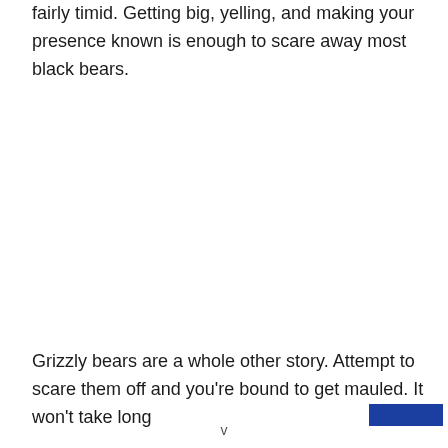fairly timid. Getting big, yelling, and making your presence known is enough to scare away most black bears.
Grizzly bears are a whole other story. Attempt to scare them off and you're bound to get mauled. It won't take long
v